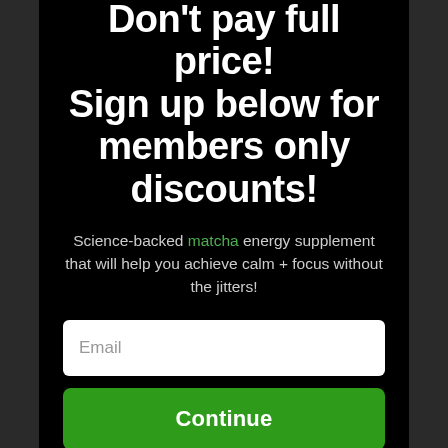Don't pay full price! Sign up below for members only discounts!
Science-backed matcha energy supplement that will help you achieve calm + focus without the jitters!
Email
Continue